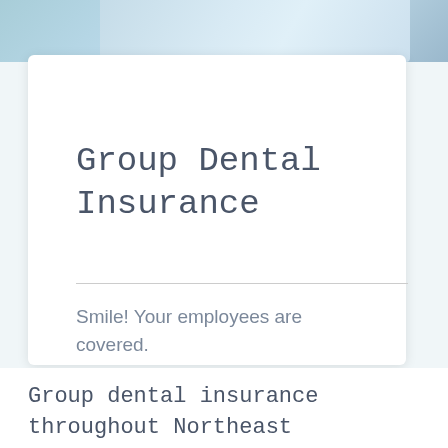[Figure (photo): Partial photo of a person in blue/light dental or medical attire, cropped at top of page]
Group Dental Insurance
Smile! Your employees are covered.
Group dental insurance throughout Northeast Pennsylvania and upstate New York